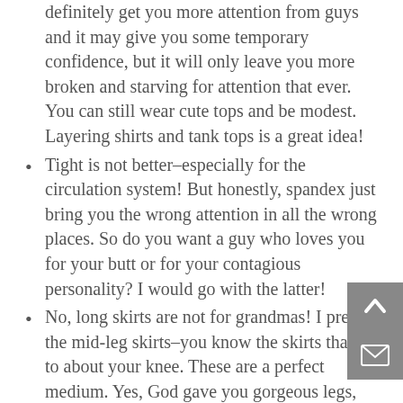definitely get you more attention from guys and it may give you some temporary confidence, but it will only leave you more broken and starving for attention that ever. You can still wear cute tops and be modest. Layering shirts and tank tops is a great idea!
Tight is not better–especially for the circulation system! But honestly, spandex just bring you the wrong attention in all the wrong places. So do you want a guy who loves you for your butt or for your contagious personality? I would go with the latter!
No, long skirts are not for grandmas! I prefer the mid-leg skirts–you know the skirts that go to about your knee. These are a perfect medium. Yes, God gave you gorgeous legs, but they are not made to be eye candy.
Bikinis are not best. Would you walk into your local grocery store in your bra and underwear? I sure hope not! But that is basically what you are doing? And yes I know that it is difficult to find cute tankinis, but it is possible! Trust me, you will get attention in a bikini, but not lasting or important attenti…